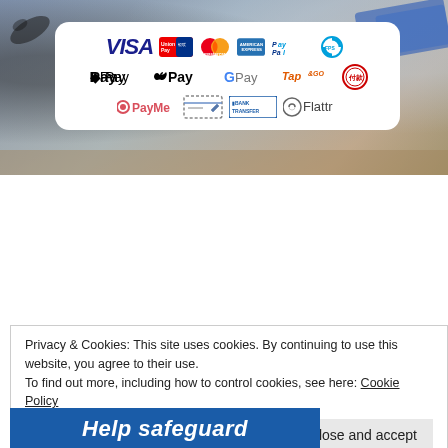[Figure (infographic): Payment methods logos shown on a white rounded card over a blurred background photo. Logos include VISA, UnionPay, Mastercard, American Express, PayPal, FPS, Apple Pay, G Pay, Tap&Go, a circular logo, PayMe, a cheque/bank card icon, Bank Transfer, and Flattr.]
Privacy & Cookies: This site uses cookies. By continuing to use this website, you agree to their use.
To find out more, including how to control cookies, see here: Cookie Policy
Close and accept
Help safeguard